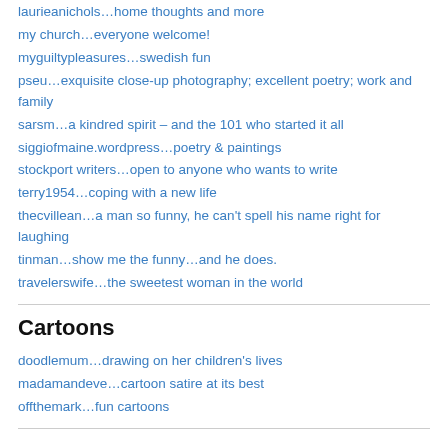laurieanichols…home thoughts and more
my church…everyone welcome!
myguiltypleasures…swedish fun
pseu…exquisite close-up photography; excellent poetry; work and family
sarsm…a kindred spirit – and the 101 who started it all
siggiofmaine.wordpress…poetry & paintings
stockport writers…open to anyone who wants to write
terry1954…coping with a new life
thecvillean…a man so funny, he can't spell his name right for laughing
tinman…show me the funny…and he does.
travelerswife…the sweetest woman in the world
Cartoons
doodlemum…drawing on her children's lives
madamandeve…cartoon satire at its best
offthemark…fun cartoons